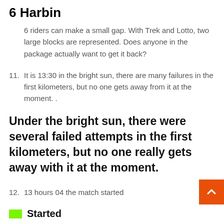6 Harbin
6 riders can make a small gap. With Trek and Lotto, two large blocks are represented. Does anyone in the package actually want to get it back?
11. It is 13:30 in the bright sun, there are many failures in the first kilometers, but no one gets away from it at the moment. .
Under the bright sun, there were several failed attempts in the first kilometers, but no one really gets away with it at the moment.
12. 13 hours 04 the match started
Started